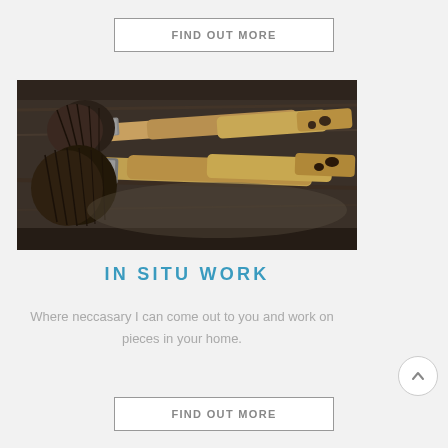FIND OUT MORE
[Figure (photo): Two old, worn paint brushes with wooden handles and dark bristles, resting on a dark weathered wooden surface]
IN SITU WORK
Where neccasary I can come out to you and work on pieces in your home.
FIND OUT MORE